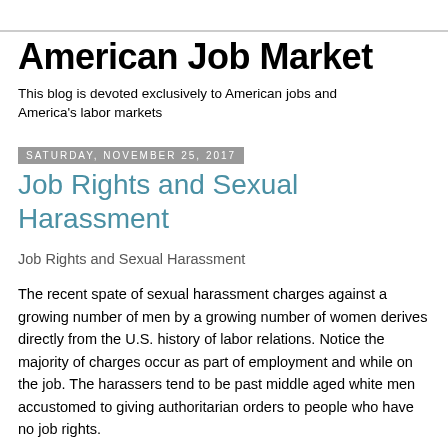American Job Market
This blog is devoted exclusively to American jobs and America's labor markets
Saturday, November 25, 2017
Job Rights and Sexual Harassment
Job Rights and Sexual Harassment
The recent spate of sexual harassment charges against a growing number of men by a growing number of women derives directly from the U.S. history of labor relations. Notice the majority of charges occur as part of employment and while on the job. The harassers tend to be past middle aged white men accustomed to giving authoritarian orders to people who have no job rights.
As I recall from my high school history, it was all white men